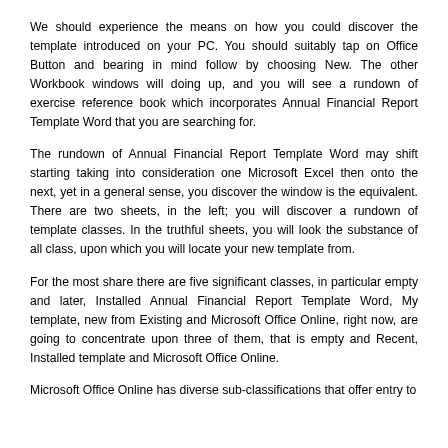We should experience the means on how you could discover the template introduced on your PC. You should suitably tap on Office Button and bearing in mind follow by choosing New. The other Workbook windows will doing up, and you will see a rundown of exercise reference book which incorporates Annual Financial Report Template Word that you are searching for.
The rundown of Annual Financial Report Template Word may shift starting taking into consideration one Microsoft Excel then onto the next, yet in a general sense, you discover the window is the equivalent. There are two sheets, in the left; you will discover a rundown of template classes. In the truthful sheets, you will look the substance of all class, upon which you will locate your new template from.
For the most share there are five significant classes, in particular empty and later, Installed Annual Financial Report Template Word, My template, new from Existing and Microsoft Office Online, right now, are going to concentrate upon three of them, that is empty and Recent, Installed template and Microsoft Office Online.
Microsoft Office Online has diverse sub-classifications that offer entry to